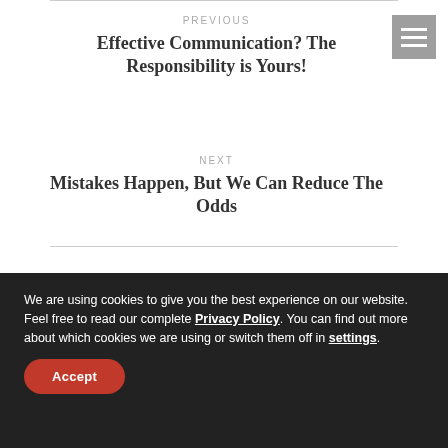PREVIOUS
Effective Communication? The Responsibility is Yours!
NEXT
Mistakes Happen, But We Can Reduce The Odds
Related Posts
We are using cookies to give you the best experience on our website. Feel free to read our complete Privacy Policy. You can find out more about which cookies we are using or switch them off in settings.
Accept